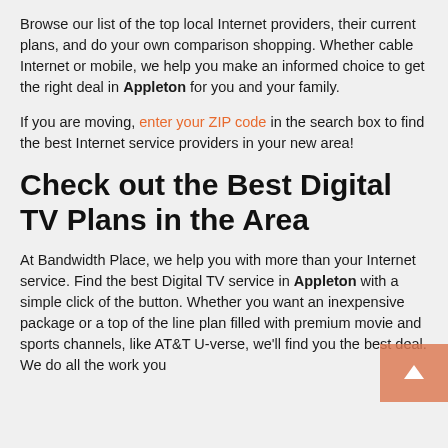Browse our list of the top local Internet providers, their current plans, and do your own comparison shopping. Whether cable Internet or mobile, we help you make an informed choice to get the right deal in Appleton for you and your family.
If you are moving, enter your ZIP code in the search box to find the best Internet service providers in your new area!
Check out the Best Digital TV Plans in the Area
At Bandwidth Place, we help you with more than your Internet service. Find the best Digital TV service in Appleton with a simple click of the button. Whether you want an inexpensive package or a top of the line plan filled with premium movie and sports channels, like AT&T U-verse, we'll find you the best deal. We do all the work you